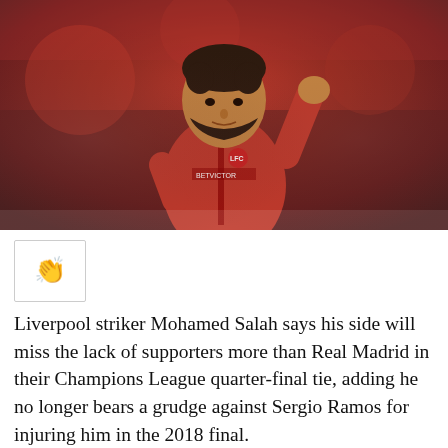[Figure (photo): Mohamed Salah in a red Liverpool FC tracksuit jacket with one arm raised, photographed in a stadium setting with blurred crowd in background]
[Figure (other): Clapping hands emoji inside a small bordered box]
Liverpool striker Mohamed Salah says his side will miss the lack of supporters more than Real Madrid in their Champions League quarter-final tie, adding he no longer bears a grudge against Sergio Ramos for injuring him in the 2018 final.